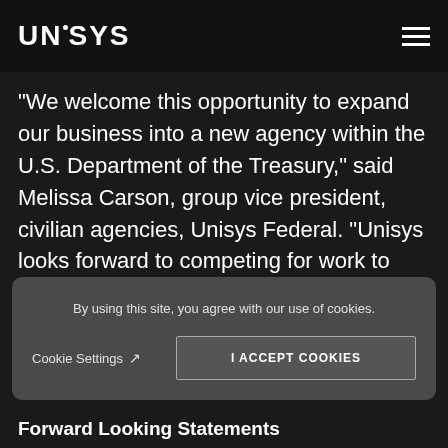UNISYS
"We welcome this opportunity to expand our business into a new agency within the U.S. Department of the Treasury," said Melissa Carson, group vice president, civilian agencies, Unisys Federal. "Unisys looks forward to competing for work to help the U.S. Mint make its comprehensive IT operations more efficient and secure."
By using this site, you agree with our use of cookies.
Cookie Settings
I ACCEPT COOKIES
Forward Looking Statements